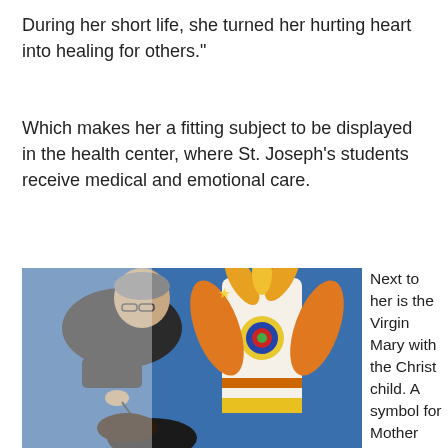During her short life, she turned her hurting heart into healing for others.”
Which makes her a fitting subject to be displayed in the health center, where St. Joseph’s students receive medical and emotional care.
[Figure (photo): A man leaning over a young girl, appearing to examine or assist her, with a colorful mural in the background depicting the Virgin Mary with the Christ child in a Native American style, with blue background and orange feathers.]
Next to her is the Virgin Mary with the Christ child. A symbol for Mother Earth – a source of life – Mary’s figure is also shaped